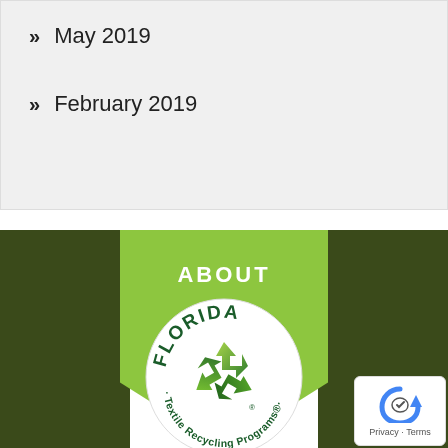May 2019
February 2019
ABOUT
[Figure (logo): Florida Textile Recycling Programs circular logo with green recycling arrows symbol and text 'FLORIDA · Textile Recycling Programs ®' on white background]